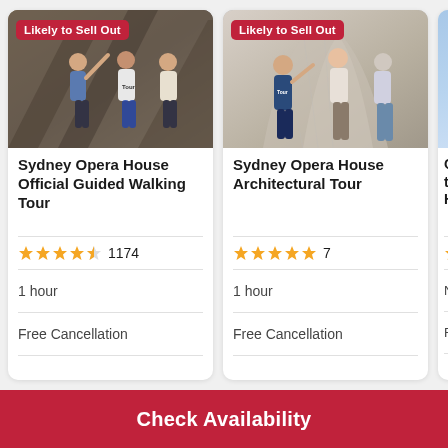[Figure (photo): Card 1: Tour group inside Sydney Opera House, badge 'Likely to Sell Out', title 'Sydney Opera House Official Guided Walking Tour', 4.5 stars, 1174 reviews, 1 hour, Free Cancellation]
[Figure (photo): Card 2: People outside Sydney Opera House touching tiles, badge 'Likely to Sell Out', title 'Sydney Opera House Architectural Tour', 5 stars, 7 reviews, 1 hour, Free Cancellation]
[Figure (photo): Card 3 (partially visible): Blue sky photo, partially cropped]
Check Availability